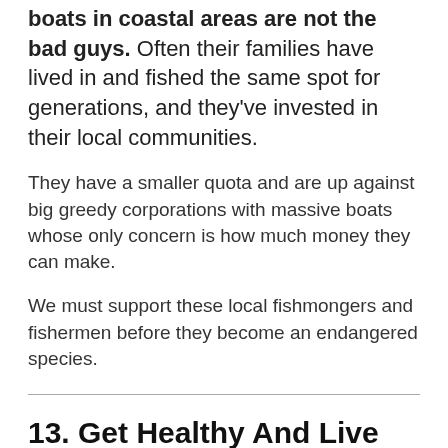boats in coastal areas are not the bad guys. Often their families have lived in and fished the same spot for generations, and they've invested in their local communities.
They have a smaller quota and are up against big greedy corporations with massive boats whose only concern is how much money they can make.
We must support these local fishmongers and fishermen before they become an endangered species.
13. Get Healthy And Live Longer